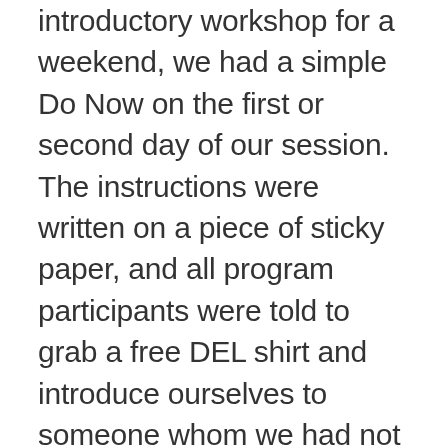introductory workshop for a weekend, we had a simple Do Now on the first or second day of our session. The instructions were written on a piece of sticky paper, and all program participants were told to grab a free DEL shirt and introduce ourselves to someone whom we had not yet met. This activity took only a few minutes, but it was a great way for us to acclimate to the dance classroom space, facilitate developing relationships among students in the class, and it required no teacher assistance or instruction.